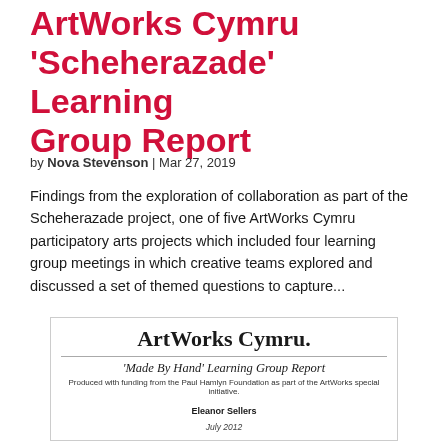ArtWorks Cymru 'Scheherazade' Learning Group Report
by Nova Stevenson | Mar 27, 2019
Findings from the exploration of collaboration as part of the Scheherazade project, one of five ArtWorks Cymru participatory arts projects which included four learning group meetings in which creative teams explored and discussed a set of themed questions to capture...
[Figure (other): Cover page of ArtWorks Cymru 'Made By Hand' Learning Group Report, produced with funding from the Paul Hamlyn Foundation as part of the ArtWorks special initiative. Author: Eleanor Sellers. Date: July 2012.]